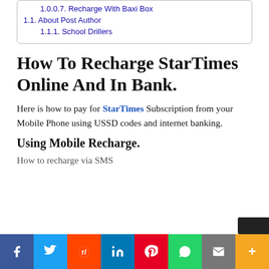1.0.0.7. Recharge With Baxi Box
1.1. About Post Author
1.1.1. School Drillers
How To Recharge StarTimes Online And In Bank.
Here is how to pay for StarTimes Subscription from your Mobile Phone using USSD codes and internet banking.
Using Mobile Recharge.
How to recharge via SMS